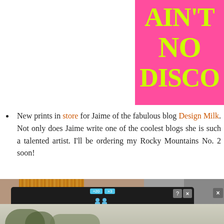[Figure (illustration): Partial view of a hot pink poster/print with neon yellow-green bold serif text reading 'AIN'T NO DISCO' (partially cropped on right side). The pink block occupies the right portion of the top area.]
New prints in store for Jaime of the fabulous blog Design Milk. Not only does Jaime write one of the coolest blogs she is such a talented artist. I'll be ordering my Rocky Mountains No. 2 soon!
[Figure (photo): Bottom strip showing a collage of color swatches and textures: beige/tan strip, wood grain strip, tan strip, grey concrete texture, darker grey area. Below that an advertisement overlay showing 'Hold and Move' app with people icon, on a dark background.]